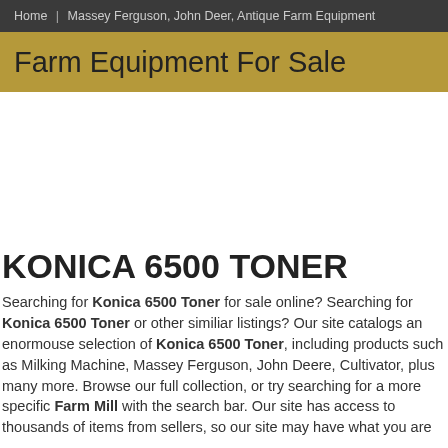Home | Massey Ferguson, John Deer, Antique Farm Equipment
Farm Equipment For Sale
[Figure (other): Advertisement / blank ad space]
KONICA 6500 TONER
Searching for Konica 6500 Toner for sale online? Searching for Konica 6500 Toner or other similiar listings? Our site catalogs an enormouse selection of Konica 6500 Toner, including products such as Milking Machine, Massey Ferguson, John Deere, Cultivator, plus many more. Browse our full collection, or try searching for a more specific Farm Mill with the search bar. Our site has access to thousands of items from sellers, so our site may have what you are